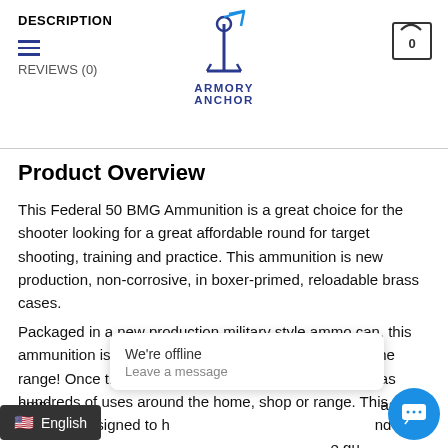DESCRIPTION | ARMORY ANCHOR | REVIEWS (0)
Product Overview
This Federal 50 BMG Ammunition is a great choice for the shooter looking for a great affordable round for target shooting, training and practice. This ammunition is new production, non-corrosive, in boxer-primed, reloadable brass cases.
Packaged in a new production military style ammo can, this ammunition is a great grab and go option for a day at the range! Once the ammunition is gone, the Ammo Can has hundreds of uses around the home, shop or range. This can size was designed to h[old 10 rounds of .50 caliber BMG] gu[ns] amm[unition]as b[een used as a stor]on[e] ignit[er] nd many other items. The Ammo Can